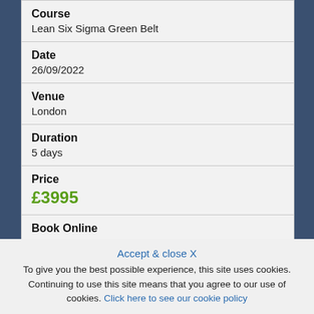| Field | Value |
| --- | --- |
| Course | Lean Six Sigma Green Belt |
| Date | 26/09/2022 |
| Venue | London |
| Duration | 5 days |
| Price | £3995 |
| Book Online | BOOK ONLINE |
Accept & close X
To give you the best possible experience, this site uses cookies. Continuing to use this site means that you agree to our use of cookies. Click here to see our cookie policy